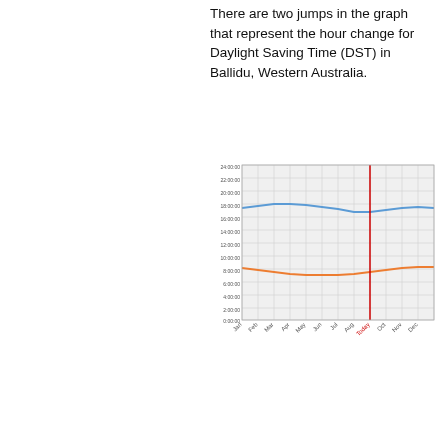There are two jumps in the graph that represent the hour change for Daylight Saving Time (DST) in Ballidu, Western Australia.
[Figure (continuous-plot): Line chart showing sunrise and sunset times over months Jan–Dec with a vertical red line at 'Today' (around Sep). Blue line (sunset) curves slightly lower in mid-year. Orange line (sunrise) curves slightly higher in mid-year. Y-axis shows times from 0:00:00 to 24:00:00. X-axis shows months Jan through Dec with a 'Today' marker near Sep.]